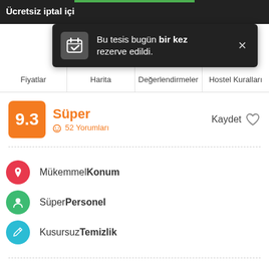Ücretsiz iptal için
[Figure (screenshot): Tooltip popup notification: 'Bu tesis bugün bir kez rezerve edildi.' with calendar icon and close X button]
Fiyatlar | Harita | Değerlendirmeler | Hostel Kuralları
9.3  Süper  52 Yorumları  Kaydet
Mükemmel Konum
Süper Personel
Kusursuz Temizlik
The hotel medium romantic occupies two modernist-style villas that preserve nineteenth-century decoration. In common areas and rooms it is possible to contemplate an extensive collection of artworks, consisting of paintings, ceramics and original sculptures. The garden is one of the most charming place of all Sitges: a dreamful space where to relax among palm trees, ivy and honeysuckle.It has a bar and